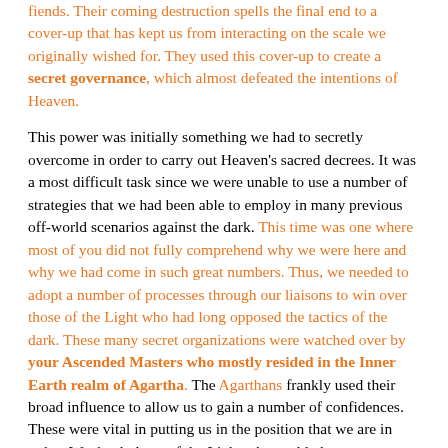fiends. Their coming destruction spells the final end to a cover-up that has kept us from interacting on the scale we originally wished for. They used this cover-up to create a secret governance, which almost defeated the intentions of Heaven.

This power was initially something we had to secretly overcome in order to carry out Heaven's sacred decrees. It was a most difficult task since we were unable to use a number of strategies that we had been able to employ in many previous off-world scenarios against the dark. This time was one where most of you did not fully comprehend why we were here and why we had come in such great numbers. Thus, we needed to adopt a number of processes through our liaisons to win over those of the Light who had long opposed the tactics of the dark. These many secret organizations were watched over by your Ascended Masters who mostly resided in the Inner Earth realm of Agartha. The Agarthans frankly used their broad influence to allow us to gain a number of confidences. These were vital in putting us in the position that we are in today. We thank those of the Light who enabled us to come here and set up programs that are currently